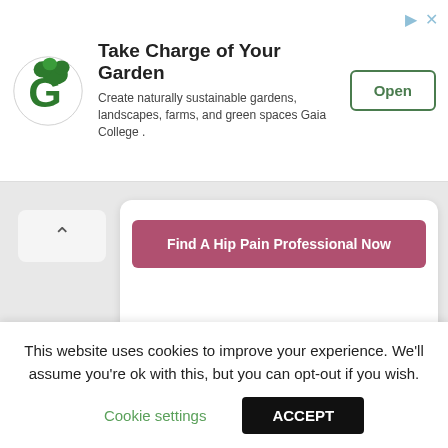[Figure (screenshot): Advertisement banner for Gaia College with green tree logo, title 'Take Charge of Your Garden', subtitle text about sustainable gardens, and an 'Open' button]
Find A Hip Pain Professional Now
1. Allison, K., Vicenzino, B., Wrigley, T., Grimaldi, A., Hodges, P. and Ronnell, K.
This website uses cookies to improve your experience. We'll assume you're ok with this, but you can opt-out if you wish.
Cookie settings
ACCEPT